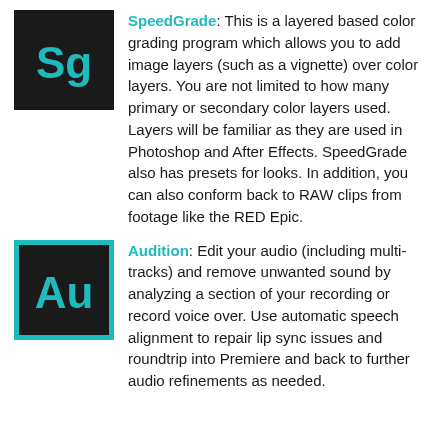[Figure (logo): Adobe SpeedGrade logo — black square with teal 'Sg' text]
SpeedGrade: This is a layered based color grading program which allows you to add image layers (such as a vignette) over color layers. You are not limited to how many primary or secondary color layers used. Layers will be familiar as they are used in Photoshop and After Effects. SpeedGrade also has presets for looks. In addition, you can also conform back to RAW clips from footage like the RED Epic.
[Figure (logo): Adobe Audition logo — teal-bordered black square with teal 'Au' text]
Audition: Edit your audio (including multi-tracks) and remove unwanted sound by analyzing a section of your recording or record voice over. Use automatic speech alignment to repair lip sync issues and roundtrip into Premiere and back to further audio refinements as needed.